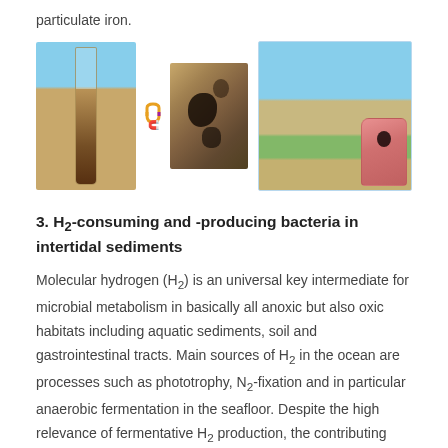particulate iron.
[Figure (photo): Three field photos: a sediment core in a glass tube held against a sandy beach background, a magnet icon between the first and second photos, a close-up of dark mineral-stained sediment grains, and a coastal intertidal flat scene with green vegetation and a pink-stained thumb/finger showing dark iron sulfide deposits.]
3. H2-consuming and -producing bacteria in intertidal sediments
Molecular hydrogen (H2) is an universal key intermediate for microbial metabolism in basically all anoxic but also oxic habitats including aquatic sediments, soil and gastrointestinal tracts. Main sources of H2 in the ocean are processes such as phototrophy, N2-fixation and in particular anaerobic fermentation in the seafloor. Despite the high relevance of fermentative H2 production, the contributing organisms are largely unknown. Interestingly,